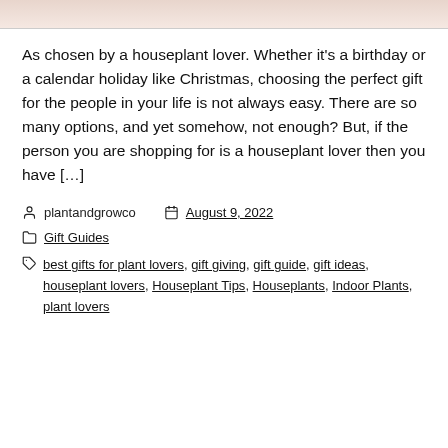[Figure (photo): Partial image at top, showing skin-toned background]
As chosen by a houseplant lover. Whether it's a birthday or a calendar holiday like Christmas, choosing the perfect gift for the people in your life is not always easy. There are so many options, and yet somehow, not enough? But, if the person you are shopping for is a houseplant lover then you have […]
plantandgrowco   August 9, 2022
Gift Guides
best gifts for plant lovers, gift giving, gift guide, gift ideas, houseplant lovers, Houseplant Tips, Houseplants, Indoor Plants, plant lovers